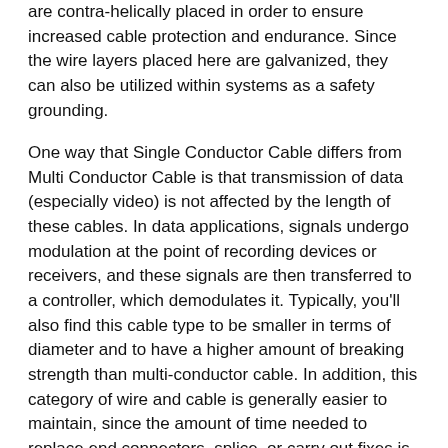are contra-helically placed in order to ensure increased cable protection and endurance. Since the wire layers placed here are galvanized, they can also be utilized within systems as a safety grounding.
One way that Single Conductor Cable differs from Multi Conductor Cable is that transmission of data (especially video) is not affected by the length of these cables. In data applications, signals undergo modulation at the point of recording devices or receivers, and these signals are then transferred to a controller, which demodulates it. Typically, you'll also find this cable type to be smaller in terms of diameter and to have a higher amount of breaking strength than multi-conductor cable. In addition, this category of wire and cable is generally easier to maintain, since the amount of time needed to replace end connectors, splice, or carry out fixes is much lower.
Safety Benefits
We know that safety is always a top concern for our customers who are using cable in electrical applications, whether they be residential, commercial, or industrial. Added safety is one of the benefits of single conductor cable, since it has insulation on individual wires and an outer jacket made of plastic material. For the operator to come into direct contact with any wiring, then, it would